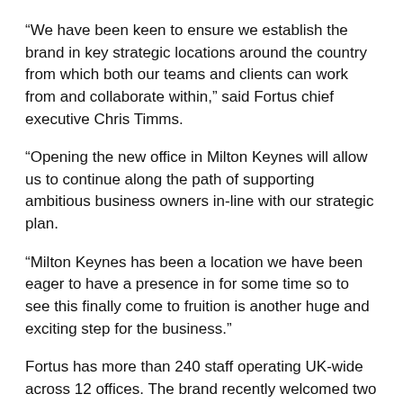“We have been keen to ensure we establish the brand in key strategic locations around the country from which both our teams and clients can work from and collaborate within,” said Fortus chief executive Chris Timms.
“Opening the new office in Milton Keynes will allow us to continue along the path of supporting ambitious business owners in-line with our strategic plan.
“Milton Keynes has been a location we have been eager to have a presence in for some time so to see this finally come to fruition is another huge and exciting step for the business.”
Fortus has more than 240 staff operating UK-wide across 12 offices. The brand recently welcomed two new senior finance specialists to its creative industries advisory team: Mark Henshaw as non-executive director – creative industries and Vasu Majumdar as senior advisor – corporate finance.
..........